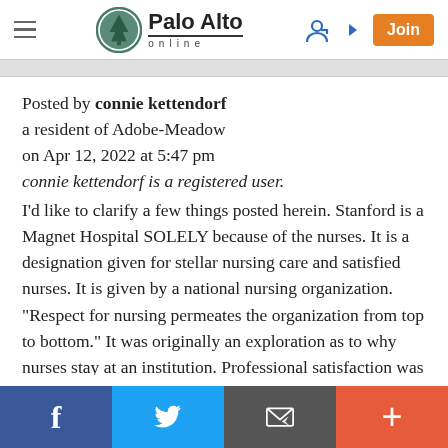Palo Alto online
Posted by connie kettendorf
a resident of Adobe-Meadow
on Apr 12, 2022 at 5:47 pm
connie kettendorf is a registered user.
I'd like to clarify a few things posted herein. Stanford is a Magnet Hospital SOLELY because of the nurses. It is a designation given for stellar nursing care and satisfied nurses. It is given by a national nursing organization. "Respect for nursing permeates the organization from top to bottom." It was originally an exploration as to why nurses stay at an institution. Professional satisfaction was a prime driver. MAGNET is